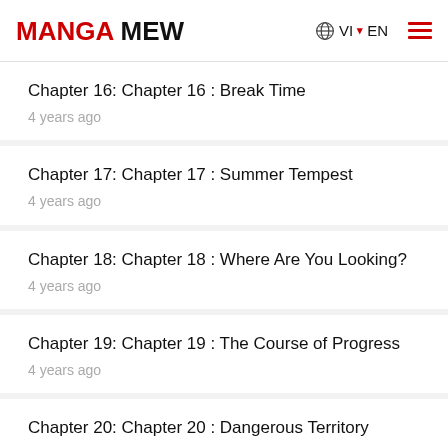MANGA MEW   🌐 VI ▾ EN ☰
Chapter 16: Chapter 16 : Break Time
4 years ago
Chapter 17: Chapter 17 : Summer Tempest
4 years ago
Chapter 18: Chapter 18 : Where Are You Looking?
4 years ago
Chapter 19: Chapter 19 : The Course of Progress
4 years ago
Chapter 20: Chapter 20 : Dangerous Territory
4 years ago
Chapter 21: Chapter 21 : Hypothesis
4 years ago